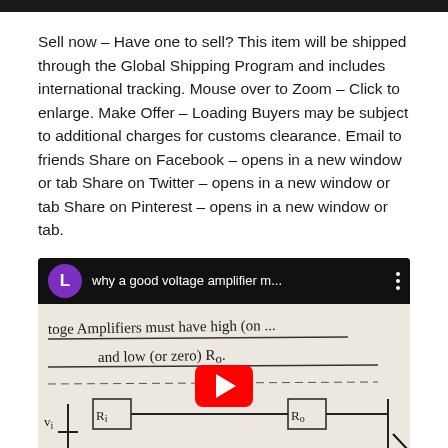Sell now – Have one to sell? This item will be shipped through the Global Shipping Program and includes international tracking. Mouse over to Zoom – Click to enlarge. Make Offer – Loading Buyers may be subject to additional charges for customs clearance. Email to friends Share on Facebook – opens in a new window or tab Share on Twitter – opens in a new window or tab Share on Pinterest – opens in a new window or tab.
[Figure (screenshot): YouTube video thumbnail showing a whiteboard with handwritten text 'Voltage Amplifiers must have high (on...) and low (or zero) Ro.' with a circuit diagram below showing vi, Ri, Ro components. Video title: 'why a good voltage amplifier m...' with a purple channel icon 'L' and YouTube play button overlay.]